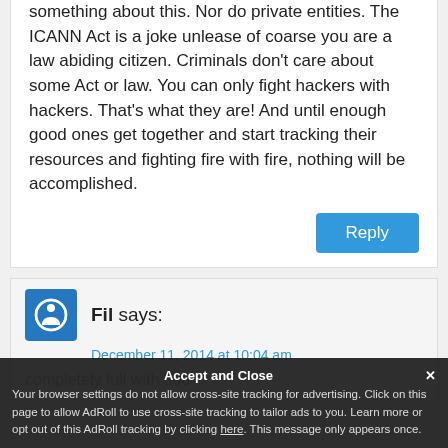something about this. Nor do private entities. The ICANN Act is a joke unlease of coarse you are a law abiding citizen. Criminals don't care about some Act or law. You can only fight hackers with hackers. That's what they are! And until enough good ones get together and start tracking their resources and fighting fire with fire, nothing will be accomplished.
Reply
Fil says:
December 11, 2014 at 10:04 am
completely full with 500+
Accept and Close
Your browser settings do not allow cross-site tracking for advertising. Click on this page to allow AdRoll to use cross-site tracking to tailor ads to you. Learn more or opt out of this AdRoll tracking by clicking here. This message only appears once.